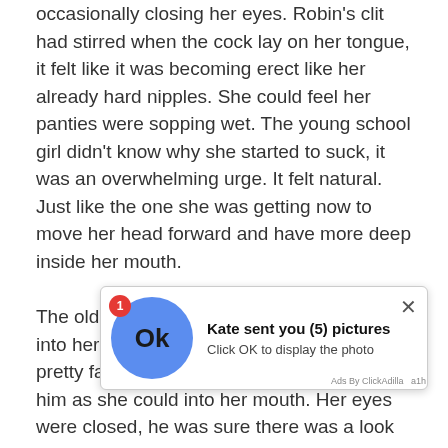occasionally closing her eyes. Robin's clit had stirred when the cock lay on her tongue, it felt like it was becoming erect like her already hard nipples. She could feel her panties were sopping wet. The young school girl didn't know why she started to suck, it was an overwhelming urge. It felt natural. Just like the one she was getting now to move her head forward and have more deep inside her mouth.
The old man gasped when she took more into her mouth. He looked at the young pretty face that was trying to get as much of him as she could into her mouth. Her eyes were closed, he was sure there was a look of ecstasy on her cute face.
When she had the cock at the back of her mouth she was slightly disappointed that she couldn't get anymore, her throat... rebellion... was so... the big... throat. As her nosed touched her old friends stomach her
[Figure (screenshot): Ad overlay notification: blue circle with 'Ok' text and red badge showing '1', title 'Kate sent you (5) pictures', subtitle 'Click OK to display the photo', close button X, attributed to 'Ads By ClickAdilla a1h']